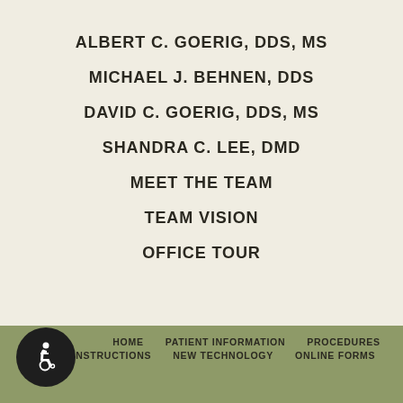ALBERT C. GOERIG, DDS, MS
MICHAEL J. BEHNEN, DDS
DAVID C. GOERIG, DDS, MS
SHANDRA C. LEE, DMD
MEET THE TEAM
TEAM VISION
OFFICE TOUR
HOME   PATIENT INFORMATION   PROCEDURES   INSTRUCTIONS   NEW TECHNOLOGY   ONLINE FORMS